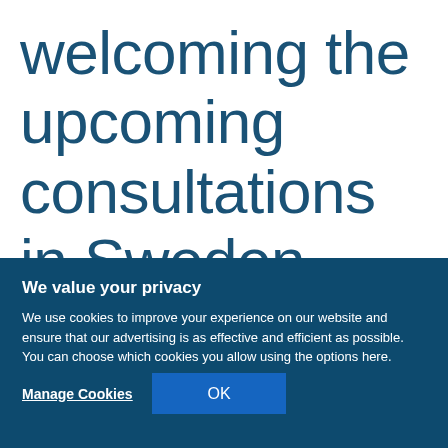welcoming the upcoming consultations in Sweden
We value your privacy
We use cookies to improve your experience on our website and ensure that our advertising is as effective and efficient as possible. You can choose which cookies you allow using the options here.
Manage Cookies
OK